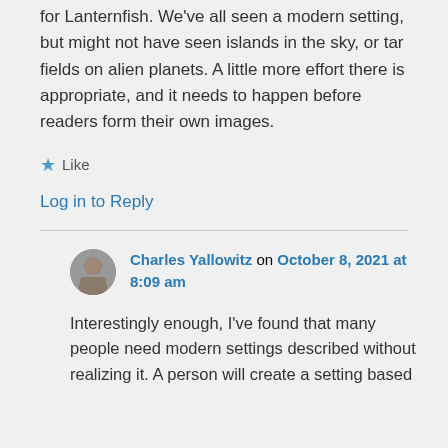for Lanternfish. We've all seen a modern setting, but might not have seen islands in the sky, or tar fields on alien planets. A little more effort there is appropriate, and it needs to happen before readers form their own images.
★ Like
Log in to Reply
Charles Yallowitz on October 8, 2021 at 8:09 am
Interestingly enough, I've found that many people need modern settings described without realizing it. A person will create a setting based